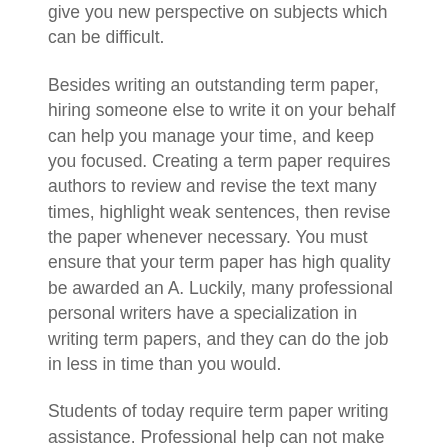give you new perspective on subjects which can be difficult.
Besides writing an outstanding term paper, hiring someone else to write it on your behalf can help you manage your time, and keep you focused. Creating a term paper requires authors to review and revise the text many times, highlight weak sentences, then revise the paper whenever necessary. You must ensure that your term paper has high quality be awarded an A. Luckily, many professional personal writers have a specialization in writing term papers, and they can do the job in less in time than you would.
Students of today require term paper writing assistance. Professional help can not make mistakes and delay your submission and result with low marks. A professional’s help can be a major boost to your learning and experiences at school. Although some writers prefer to write their papers on their own, others